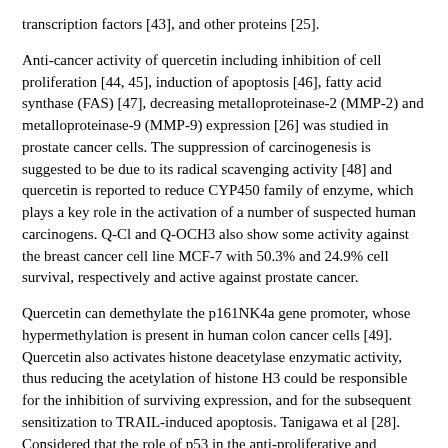transcription factors [43], and other proteins [25].
Anti-cancer activity of quercetin including inhibition of cell proliferation [44, 45], induction of apoptosis [46], fatty acid synthase (FAS) [47], decreasing metalloproteinase-2 (MMP-2) and metalloproteinase-9 (MMP-9) expression [26] was studied in prostate cancer cells. The suppression of carcinogenesis is suggested to be due to its radical scavenging activity [48] and quercetin is reported to reduce CYP450 family of enzyme, which plays a key role in the activation of a number of suspected human carcinogens. Q-Cl and Q-OCH3 also show some activity against the breast cancer cell line MCF-7 with 50.3% and 24.9% cell survival, respectively and active against prostate cancer.
Quercetin can demethylate the p161NK4a gene promoter, whose hypermethylation is present in human colon cancer cells [49]. Quercetin also activates histone deacetylase enzymatic activity, thus reducing the acetylation of histone H3 could be responsible for the inhibition of surviving expression, and for the subsequent sensitization to TRAIL-induced apoptosis. Tanigawa et al [28]. Considered that the role of p53 in the anti-proliferative and proapoptotic action of quercetin on tumor cell lines. In HepG2 cells, Quercetin causes cell-cycle arrest and apoptosis by inducing p53 phosphorylation and by stabilizing p53 both at the mRNA and protein level.